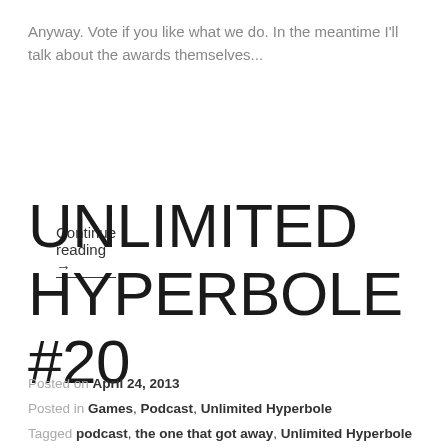Anyway. Vote if you like what we do. In the meantime I'll talk about the awards themselves...
Continue reading →
UNLIMITED HYPERBOLE #20
Posted on April 24, 2013
Posted in Games, Podcast, Unlimited Hyperbole
Tagged podcast, the one that got away, Unlimited Hyperbole